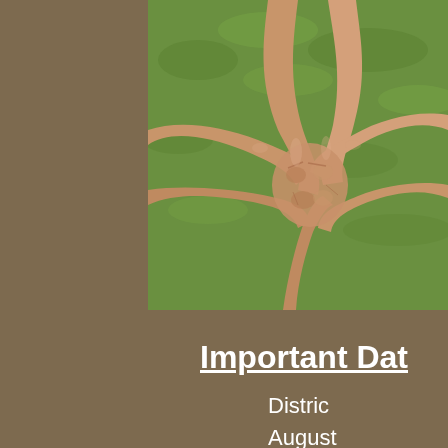[Figure (photo): Aerial view of multiple children's hands and arms reaching in to grip each other's wrists in a circle, over green grass background.]
Important Dat
Distric
August
Pres